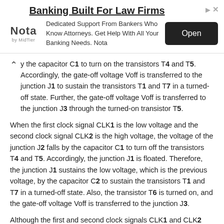[Figure (other): Advertisement banner: 'Banking Built For Law Firms' by Nota, with Open button]
y the capacitor C1 to turn on the transistors T4 and T5. Accordingly, the gate-off voltage Voff is transferred to the junction J1 to sustain the transistors T1 and T7 in a turned-off state. Further, the gate-off voltage Voff is transferred to the junction J3 through the turned-on transistor T5.
When the first clock signal CLK1 is the low voltage and the second clock signal CLK2 is the high voltage, the voltage of the junction J2 falls by the capacitor C1 to turn off the transistors T4 and T5. Accordingly, the junction J1 is floated. Therefore, the junction J1 sustains the low voltage, which is the previous voltage, by the capacitor C2 to sustain the transistors T1 and T7 in a turned-off state. Also, the transistor T6 is turned on, and the gate-off voltage Voff is transferred to the junction J3.
Although the first and second clock signals CLK1 and CLK2 change at later predetermined periods, the junction J3 constantly sustains the gate-off voltage Voff.
Since a path selection signal SEL 1 applied to a selection terminal SE1 is a high level voltage and a path selection signal SEL2 applied to a selection